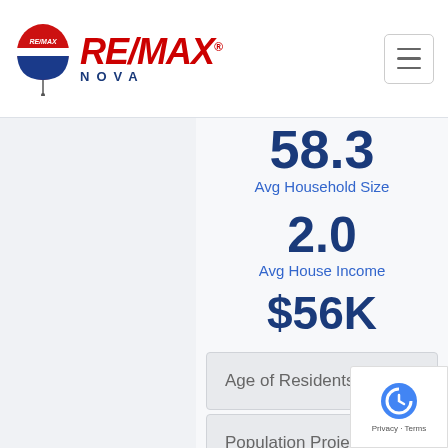[Figure (logo): RE/MAX Nova logo with balloon icon, red RE/MAX text, blue NOVA text]
58.3
Avg Household Size
2.0
Avg House Income
$56K
Age of Residents
Population Projection
Education
Marital Status